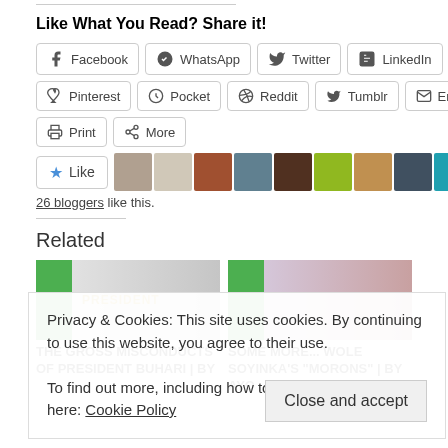Like What You Read? Share it!
[Figure (screenshot): Social share buttons: Facebook, WhatsApp, Twitter, LinkedIn, Pinterest, Pocket, Reddit, Tumblr, Email, Print, More]
[Figure (screenshot): Like button with star icon followed by 11 blogger avatar thumbnails]
26 bloggers like this.
Related
[Figure (screenshot): Two related article cards: 'THE GROSS MISCONDUCTS OF PRESIDENT BUHARI | by ...' and 'SOME MORE... WOLE SOYINKA'S "MORONS" | by Ayo']
Privacy & Cookies: This site uses cookies. By continuing to use this website, you agree to their use.
To find out more, including how to control cookies, see here: Cookie Policy
Close and accept